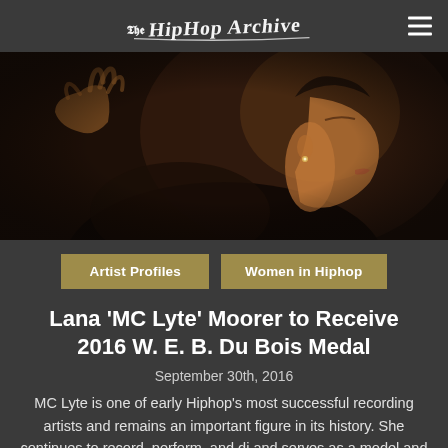The Hip Hop Archive
[Figure (photo): Profile photo of MC Lyte (Lana Moorer), a woman with short hair, shown in side/three-quarter view against a dark background, wearing a floral top, raising one hand.]
Artist Profiles
Women in Hiphop
Lana 'MC Lyte' Moorer to Receive 2016 W. E. B. Du Bois Medal
September 30th, 2016
MC Lyte is one of early Hiphop's most successful recording artists and remains an important figure in its history. She continues to record, perform, and dj and serves as a model and reminder that a woman emcee doesn't always have to show her body in order to